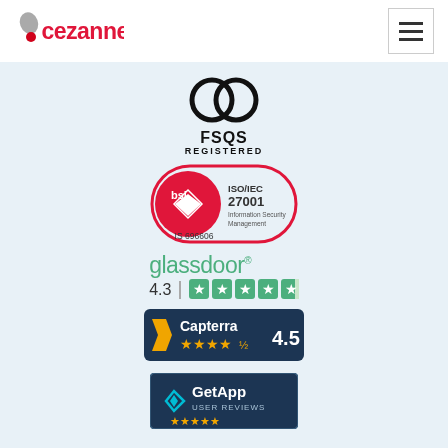Cezanne HR navigation header
[Figure (logo): FSQS Registered badge with interlinked rings logo above text FSQS REGISTERED]
[Figure (logo): BSI ISO/IEC 27001 Information Security Management certification badge IS 696606]
[Figure (logo): Glassdoor logo with rating 4.3 and 4.5 stars shown in green star icons]
[Figure (logo): Capterra badge with 4.5 star rating and orange stars]
[Figure (logo): GetApp User Reviews badge with teal diamond logo]